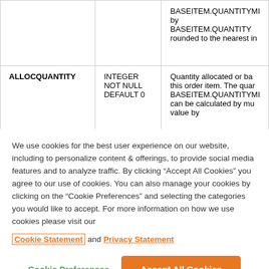| Column | Type | Description |
| --- | --- | --- |
|  |  | BASEITEM.QUANTITYMI by BASEITEM.QUANTITY rounded to the nearest in |
| ALLOCQUANTITY | INTEGER NOT NULL DEFAULT 0 | Quantity allocated or ba this order item. The quan BASEITEM.QUANTITYMI can be calculated by mu value by |
We use cookies for the best user experience on our website, including to personalize content & offerings, to provide social media features and to analyze traffic. By clicking “Accept All Cookies” you agree to our use of cookies. You can also manage your cookies by clicking on the “Cookie Preferences” and selecting the categories you would like to accept. For more information on how we use cookies please visit our Cookie Statement and Privacy Statement